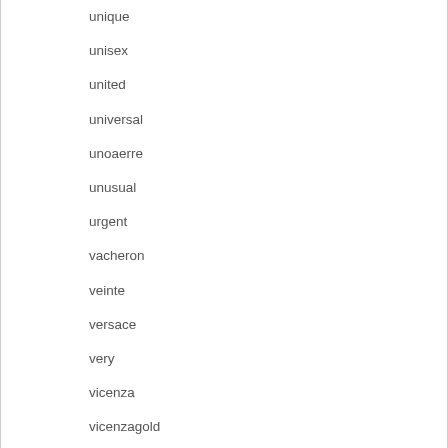unique
unisex
united
universal
unoaerre
unusual
urgent
vacheron
veinte
versace
very
vicenza
vicenzagold
victoria
vintage
vvs1d
vvs1col